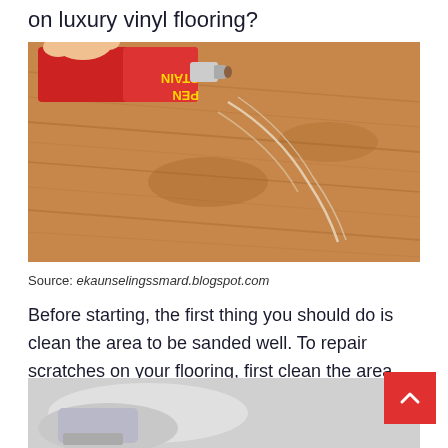on luxury vinyl flooring?
[Figure (photo): A hand holding a stain pen/marker applying it to scratches on a wooden floor surface]
Source: ekaunselingssmard.blogspot.com
Before starting, the first thing you should do is clean the area to be sanded well. To repair scratches on your flooring, first clean the area.
[Figure (photo): Partial image of cleaning supplies or cloth on flooring]